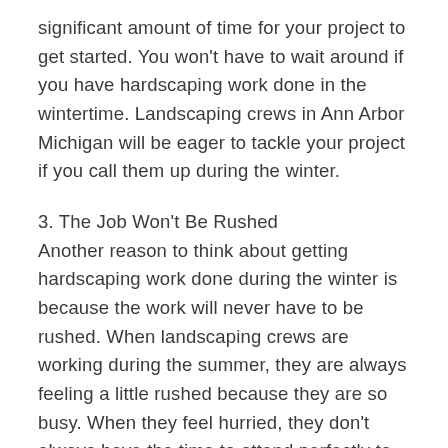significant amount of time for your project to get started. You won't have to wait around if you have hardscaping work done in the wintertime. Landscaping crews in Ann Arbor Michigan will be eager to tackle your project if you call them up during the winter.
3. The Job Won't Be Rushed
Another reason to think about getting hardscaping work done during the winter is because the work will never have to be rushed. When landscaping crews are working during the summer, they are always feeling a little rushed because they are so busy. When they feel hurried, they don't always have the time to attend perfectly to every little